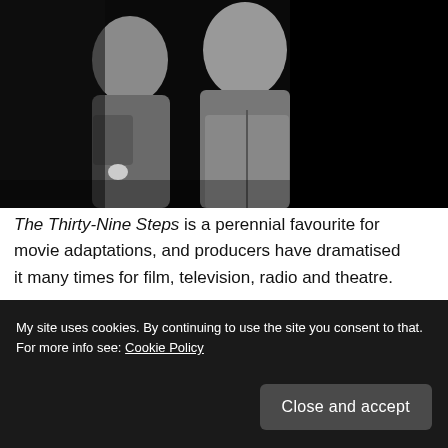[Figure (photo): Black and white photograph of two people, partially cropped, showing figures in coats or jackets against a dark background.]
The Thirty-Nine Steps is a perennial favourite for movie adaptations, and producers have dramatised it many times for film, television, radio and theatre.
The most famous adaptation is Alfred Hitchcock's 1935 version. Hitchcock took the original conspiracy thriller and turned it
My site uses cookies. By continuing to use the site you consent to that. For more info see: Cookie Policy
Close and accept